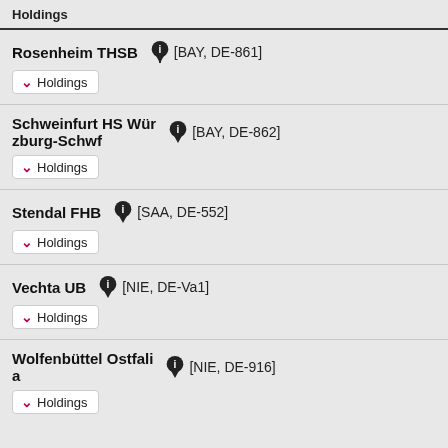Holdings (top bar, truncated)
Rosenheim THSB [BAY, DE-861] Holdings
Schweinfurt HS Würzburg-Schwf [BAY, DE-862] Holdings
Stendal FHB [SAA, DE-552] Holdings
Vechta UB [NIE, DE-Va1] Holdings
Wolfenbüttel Ostfalia [NIE, DE-916] Holdings